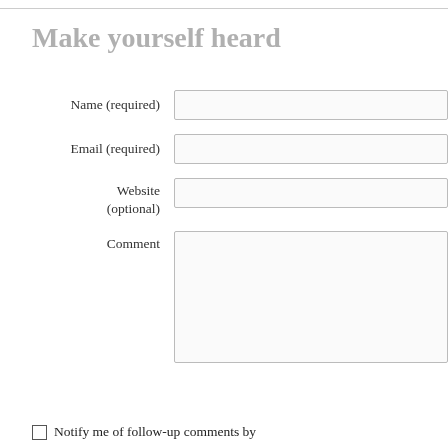Make yourself heard
Name (required)
Email (required)
Website (optional)
Comment
Notify me of follow-up comments by